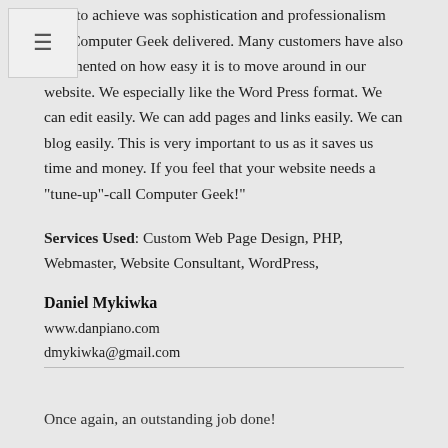tried to achieve was sophistication and professionalism and Computer Geek delivered. Many customers have also commented on how easy it is to move around in our website. We especially like the Word Press format. We can edit easily. We can add pages and links easily. We can blog easily. This is very important to us as it saves us time and money. If you feel that your website needs a "tune-up"-call Computer Geek!"
Services Used: Custom Web Page Design, PHP, Webmaster, Website Consultant, WordPress,
Daniel Mykiwka
www.danpiano.com
dmykiwka@gmail.com
Once again, an outstanding job done!